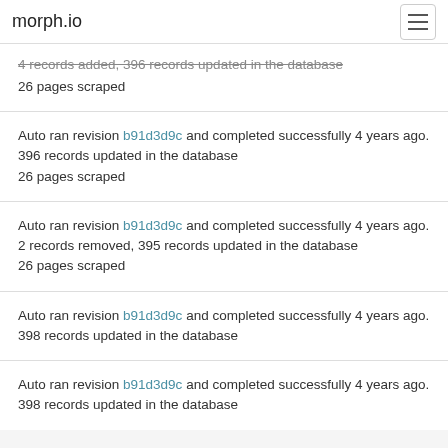morph.io
4 records added, 396 records updated in the database
26 pages scraped
Auto ran revision b91d3d9c and completed successfully 4 years ago.
396 records updated in the database
26 pages scraped
Auto ran revision b91d3d9c and completed successfully 4 years ago.
2 records removed, 395 records updated in the database
26 pages scraped
Auto ran revision b91d3d9c and completed successfully 4 years ago.
398 records updated in the database
Auto ran revision b91d3d9c and completed successfully 4 years ago.
398 records updated in the database